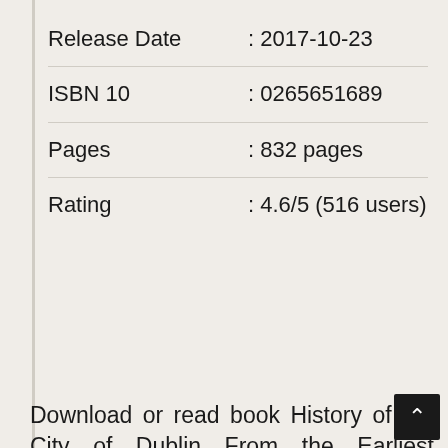| Field | Value |
| --- | --- |
| Release Date | : 2017-10-23 |
| ISBN 10 | : 0265651689 |
| Pages | : 832 pages |
| Rating | : 4.6/5 (516 users) |
GET EBOOK!
Download or read book History of the City of Dublin From the Earliest Accounts to the Present Time Vol 2 of 2 written by Warburton and published by Forgotten Books. This book was released on 2017-10-